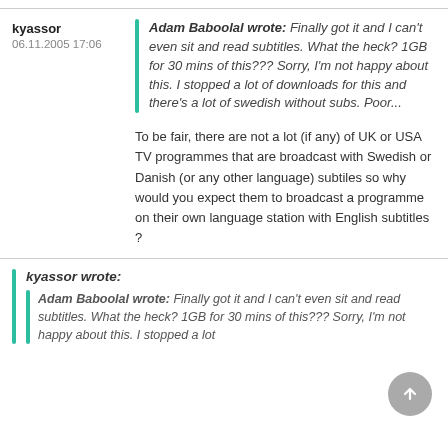Adam Baboolal wrote: Finally got it and I can't even sit and read subtitles. What the heck? 1GB for 30 mins of this??? Sorry, I'm not happy about this. I stopped a lot of downloads for this and there's a lot of swedish without subs. Poor...
kyassor
06.11.2005 17:06
To be fair, there are not a lot (if any) of UK or USA TV programmes that are broadcast with Swedish or Danish (or any other language) subtiles so why would you expect them to broadcast a programme on their own language station with English subtitles ?
kyassor wrote: Adam Baboolal wrote: Finally got it and I can't even sit and read subtitles. What the heck? 1GB for 30 mins of this??? Sorry, I'm not happy about this. I stopped a lot